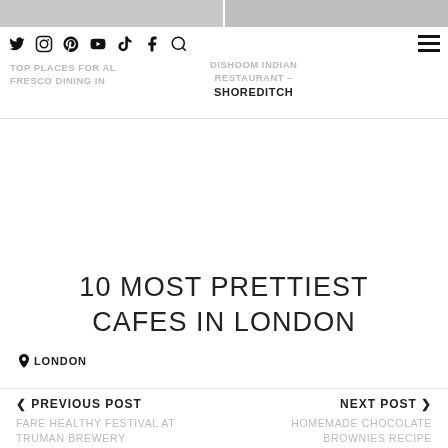[Figure (photo): Two cropped photo thumbnails at the top of the page, partially visible]
Twitter Instagram Pinterest YouTube TikTok Facebook Search | DISHOOM INDIAN RESTAURANT – | TOP PLACES FOR AL FRESCO DINING IN | SHOREDITCH
10 MOST PRETTIEST CAFES IN LONDON
📍 LONDON
‹ PREVIOUS POST
FARE HEALTHY FESTIVAL AT TRUMAN BREWERY
NEXT POST ›
HOMEMADE CHOCOLATE BROWNIES RECIPE